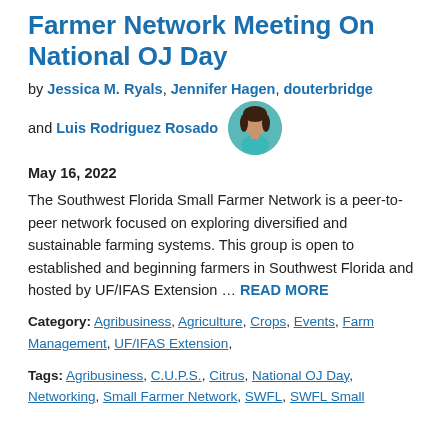Farmer Network Meeting On National OJ Day
by Jessica M. Ryals, Jennifer Hagen, douterbridge and Luis Rodriguez Rosado
May 16, 2022
The Southwest Florida Small Farmer Network is a peer-to-peer network focused on exploring diversified and sustainable farming systems. This group is open to established and beginning farmers in Southwest Florida and hosted by UF/IFAS Extension … READ MORE
Category: Agribusiness, Agriculture, Crops, Events, Farm Management, UF/IFAS Extension,
Tags: Agribusiness, C.U.P.S., Citrus, National OJ Day, Networking, Small Farmer Network, SWFL, SWFL Small